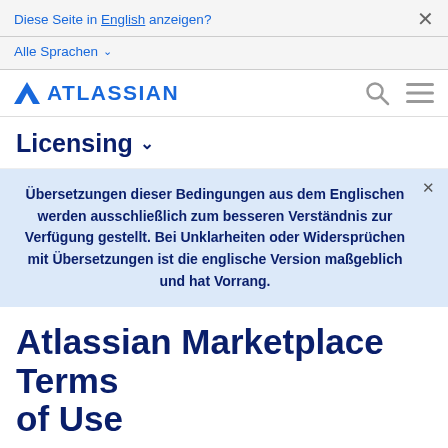Diese Seite in English anzeigen?
Alle Sprachen
[Figure (logo): Atlassian logo with blue triangle and ATLASSIAN text, plus search and menu icons]
Licensing
Übersetzungen dieser Bedingungen aus dem Englischen werden ausschließlich zum besseren Verständnis zur Verfügung gestellt. Bei Unklarheiten oder Widersprüchen mit Übersetzungen ist die englische Version maßgeblich und hat Vorrang.
Atlassian Marketplace Terms of Use